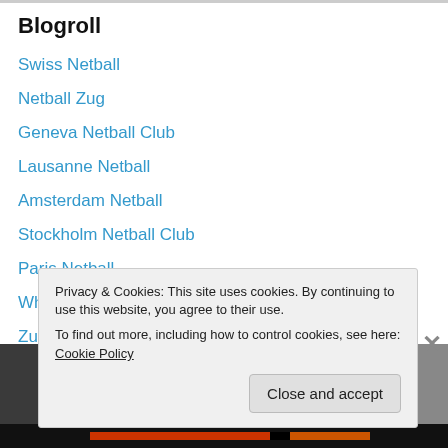Blogroll
Swiss Netball
Netball Zug
Geneva Netball Club
Lausanne Netball
Amsterdam Netball
Stockholm Netball Club
Paris Netball
What is Netball?
Zurich Netball Club on Facebook
Privacy & Cookies: This site uses cookies. By continuing to use this website, you agree to their use.
To find out more, including how to control cookies, see here: Cookie Policy
Close and accept